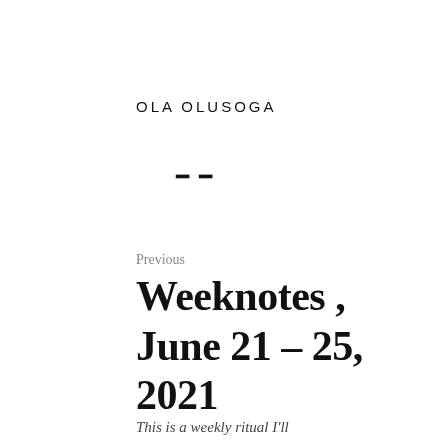OLA OLUSOGA
=
Previous
Weeknotes , June 21 – 25, 2021
This is a weekly ritual I'll